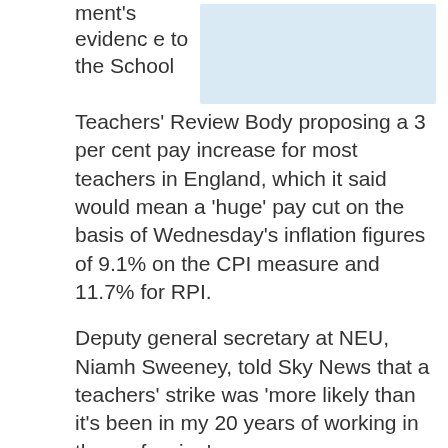ment's evidence to the School Teachers' Review Body proposing a 3 per cent pay increase for most teachers in England, which it said would mean a 'huge' pay cut on the basis of Wednesday's inflation figures of 9.1% on the CPI measure and 11.7% for RPI.
[Figure (photo): Image placeholder with light blue background, partially visible in top right area]
Deputy general secretary at NEU, Niamh Sweeney, told Sky News that a teachers' strike was 'more likely than it's been in my 20 years of working in the profession'.
'Teachers are saying to us that they are finding it difficult to get to the end of the month, their heating bills and their fuel bills means that they are struggling to survive'.
In a letter to Mr Zahawi, the union called for a fully